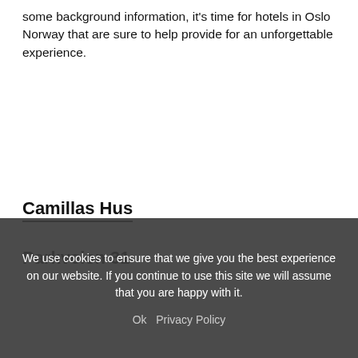some background information, it's time for hotels in Oslo Norway that are sure to help provide for an unforgettable experience.
Camillas Hus
Parkveien 31
We use cookies to ensure that we give you the best experience on our website. If you continue to use this site we will assume that you are happy with it.
Ok   Privacy Policy